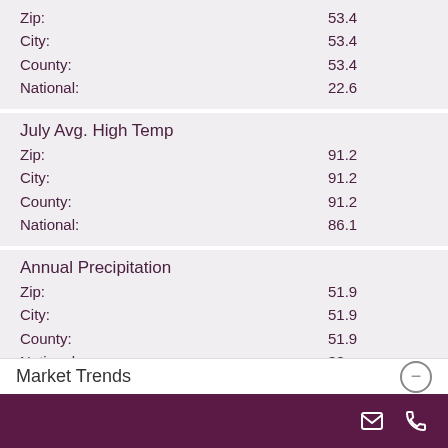|  |  |
| --- | --- |
| Zip: | 53.4 |
| City: | 53.4 |
| County: | 53.4 |
| National: | 22.6 |
July Avg. High Temp
|  |  |
| --- | --- |
| Zip: | 91.2 |
| City: | 91.2 |
| County: | 91.2 |
| National: | 86.1 |
Annual Precipitation
|  |  |
| --- | --- |
| Zip: | 51.9 |
| City: | 51.9 |
| County: | 51.9 |
| National: | 38 |
Data Provided by ATTOM Data Solutions
Market Trends